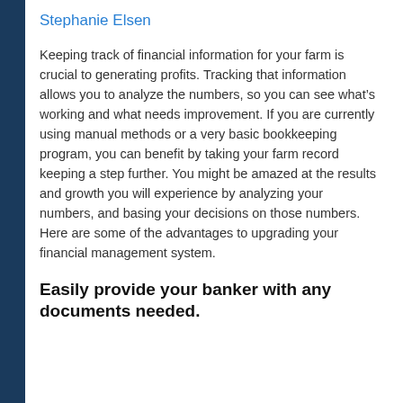Stephanie Elsen
Keeping track of financial information for your farm is crucial to generating profits. Tracking that information allows you to analyze the numbers, so you can see what's working and what needs improvement. If you are currently using manual methods or a very basic bookkeeping program, you can benefit by taking your farm record keeping a step further. You might be amazed at the results and growth you will experience by analyzing your numbers, and basing your decisions on those numbers. Here are some of the advantages to upgrading your financial management system.
Easily provide your banker with any documents needed.